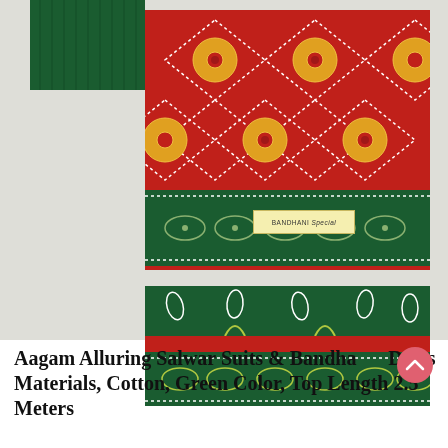[Figure (photo): Product photo of Aagam Alluring Salwar Suits and Bandhani Dress Materials. The image shows folded cotton fabric in red with a diamond/geometric bandhani pattern featuring yellow floral motifs, a dark green border stripe with paisley/bandhani dotted design, a small brand label reading 'BANDHANI' and below that a separate piece of dark green fabric with small teardrop/leaf bandhani patterns and a similar green border stripe with yellow paisley motifs. The background is light grey/white. A pink circular scroll-to-top button overlaps the top-right of the title.]
Aagam Alluring Salwar Suits & Bandhani Dress Materials, Cotton, Green Color, Top Length 2.5 Meters